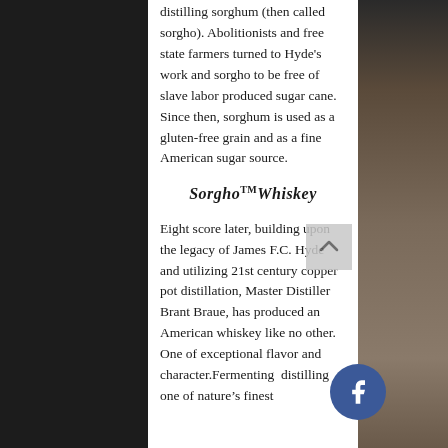distilling sorghum (then called sorgho). Abolitionists and free state farmers turned to Hyde's work and sorgho to be free of slave labor produced sugar cane. Since then, sorghum is used as a gluten-free grain and as a fine American sugar source.
Sorgho™ Whiskey
Eight score later, building upon the legacy of James F.C. Hyde and utilizing 21st century copper pot distillation, Master Distiller Brant Braue, has produced an American whiskey like no other. One of exceptional flavor and character.Fermenting distilling one of nature's finest
[Figure (photo): Dark background panels on left and right sides of the page, with a textured stone/grain surface on the right panel]